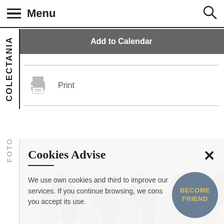Menu
Add to Calendar
[Figure (illustration): Printer icon in grey]
Print
COLECTANIA
FOTO
Cookies Advise
We use own cookies and third to improve our services. If you continue browsing, we cons you accept its use.
BECOME FRIEND